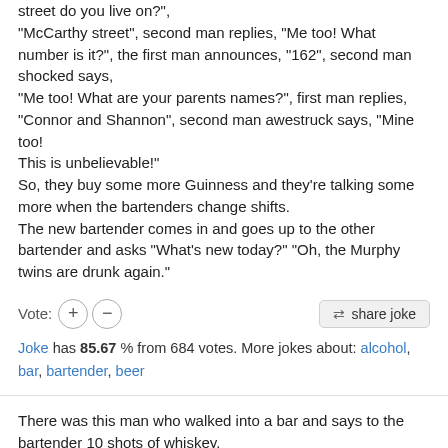street do you live on?", "McCarthy street", second man replies, "Me too! What number is it?", the first man announces, "162", second man shocked says, "Me too! What are your parents names?", first man replies, "Connor and Shannon", second man awestruck says, "Mine too! This is unbelievable!" So, they buy some more Guinness and they're talking some more when the bartenders change shifts. The new bartender comes in and goes up to the other bartender and asks "What's new today?" "Oh, the Murphy twins are drunk again."
Vote: + -
share joke
Joke has 85.67 % from 684 votes. More jokes about: alcohol, bar, bartender, beer
There was this man who walked into a bar and says to the bartender 10 shots of whiskey. The bartender asks, "What's the matter?"